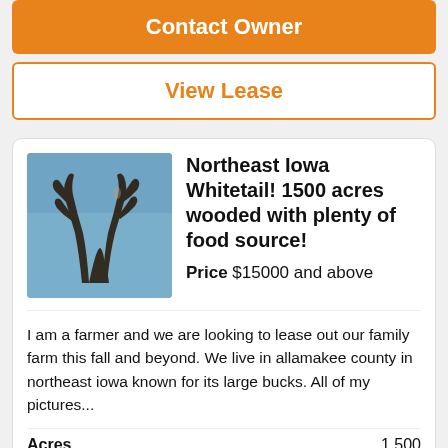Contact Owner
View Lease
[Figure (photo): Close-up photo of deer antlers against a blue sky background]
Northeast Iowa Whitetail! 1500 acres wooded with plenty of food source!
Price $15000 and above
I am a farmer and we are looking to lease out our family farm this fall and beyond. We live in allamakee county in northeast iowa known for its large bucks. All of my pictures...
| Field | Value |
| --- | --- |
| Acres | 1,500 |
| Zip | 52151 |
| County | Allamakee |
| Type | Agri Short T... |